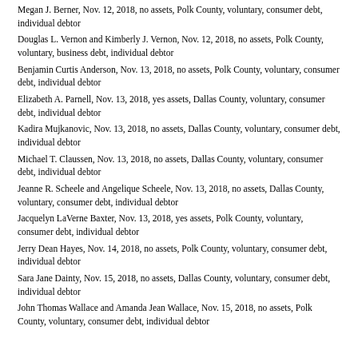Megan J. Berner, Nov. 12, 2018, no assets, Polk County, voluntary, consumer debt, individual debtor
Douglas L. Vernon and Kimberly J. Vernon, Nov. 12, 2018, no assets, Polk County, voluntary, business debt, individual debtor
Benjamin Curtis Anderson, Nov. 13, 2018, no assets, Polk County, voluntary, consumer debt, individual debtor
Elizabeth A. Parnell, Nov. 13, 2018, yes assets, Dallas County, voluntary, consumer debt, individual debtor
Kadira Mujkanovic, Nov. 13, 2018, no assets, Dallas County, voluntary, consumer debt, individual debtor
Michael T. Claussen, Nov. 13, 2018, no assets, Dallas County, voluntary, consumer debt, individual debtor
Jeanne R. Scheele and Angelique Scheele, Nov. 13, 2018, no assets, Dallas County, voluntary, consumer debt, individual debtor
Jacquelyn LaVerne Baxter, Nov. 13, 2018, yes assets, Polk County, voluntary, consumer debt, individual debtor
Jerry Dean Hayes, Nov. 14, 2018, no assets, Polk County, voluntary, consumer debt, individual debtor
Sara Jane Dainty, Nov. 15, 2018, no assets, Dallas County, voluntary, consumer debt, individual debtor
John Thomas Wallace and Amanda Jean Wallace, Nov. 15, 2018, no assets, Polk County, voluntary, consumer debt, individual debtor